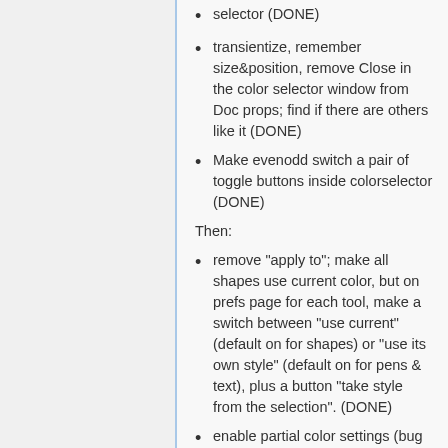selector (DONE)
transientize, remember size&position, remove Close in the color selector window from Doc props; find if there are others like it (DONE)
Make evenodd switch a pair of toggle buttons inside colorselector (DONE)
Then:
remove "apply to"; make all shapes use current color, but on prefs page for each tool, make a switch between "use current" (default on for shapes) or "use its own style" (default on for pens & text), plus a button "take style from the selection". (DONE)
enable partial color settings (bug http://sourceforge.net/tracker/index.php?